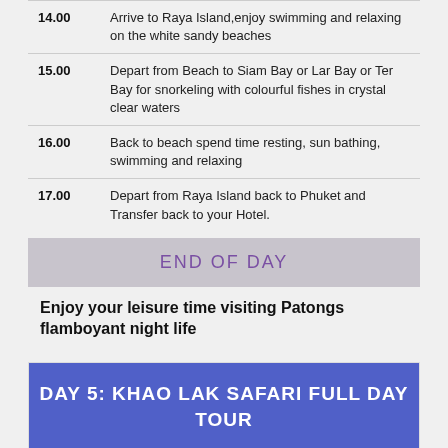| Time | Activity |
| --- | --- |
| 14.00 | Arrive to Raya Island,enjoy swimming and relaxing on the white sandy beaches |
| 15.00 | Depart from Beach to Siam Bay or Lar Bay or Ter Bay for snorkeling with colourful fishes in crystal clear waters |
| 16.00 | Back to beach spend time resting, sun bathing, swimming and relaxing |
| 17.00 | Depart from Raya Island back to Phuket and Transfer back to your Hotel. |
END OF DAY
Enjoy your leisure time visiting Patongs flamboyant night life
DAY 5: KHAO LAK SAFARI FULL DAY TOUR
[Figure (photo): Dark green jungle/forest photo at bottom of page]
Leave a message  ×